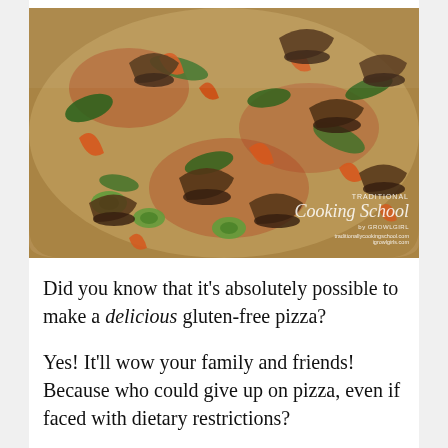[Figure (photo): Close-up photo of a vegetable pizza topped with mushrooms, orange/red bell peppers, zucchini, spinach, and melted cheese on a dark baking tray. A watermark reads 'Traditional Cooking School by Growlgirl' with website URLs.]
Did you know that it’s absolutely possible to make a delicious gluten-free pizza?
Yes! It’ll wow your family and friends! Because who could give up on pizza, even if faced with dietary restrictions?